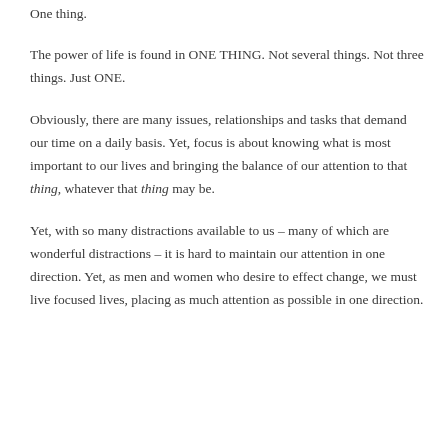One thing.
The power of life is found in ONE THING. Not several things. Not three things. Just ONE.
Obviously, there are many issues, relationships and tasks that demand our time on a daily basis. Yet, focus is about knowing what is most important to our lives and bringing the balance of our attention to that thing, whatever that thing may be.
Yet, with so many distractions available to us – many of which are wonderful distractions – it is hard to maintain our attention in one direction. Yet, as men and women who desire to effect change, we must live focused lives, placing as much attention as possible in one direction.